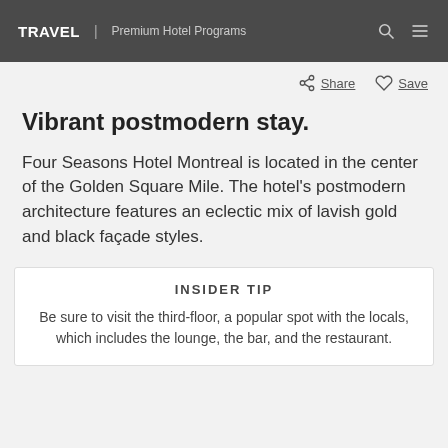TRAVEL | Premium Hotel Programs
Share   Save
Vibrant postmodern stay.
Four Seasons Hotel Montreal is located in the center of the Golden Square Mile. The hotel's postmodern architecture features an eclectic mix of lavish gold and black façade styles.
INSIDER TIP
Be sure to visit the third-floor, a popular spot with the locals, which includes the lounge, the bar, and the restaurant.